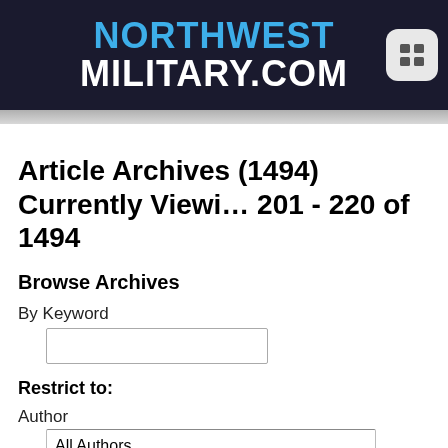NORTHWEST MILITARY.COM
Article Archives (1494) Currently Viewing 201 - 220 of 1494
Browse Archives
By Keyword
Restrict to:
Author
All Authors
Section
All Sections